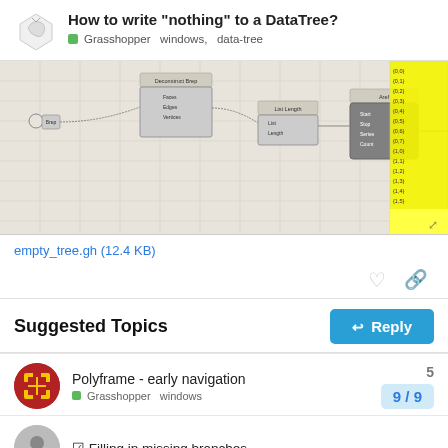How to write “nothing” to a DataTree?
Grasshopper  windows,  data-tree
[Figure (screenshot): Grasshopper visual programming canvas showing nodes: Deconstruct Brep, List Length, Aref, Set Pattern components connected with wires, and a yellow panel on the right showing data tree output paths like {0,0}, {0,1} etc.]
empty_tree.gh (12.4 KB)
Suggested Topics
Polyframe - early navigation
Grasshopper  windows
5
9 / 9
☑ Filling in missing branches